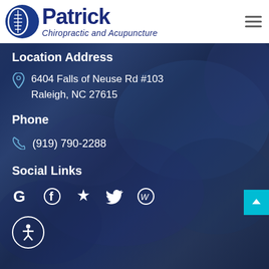Patrick Chiropractic and Acupuncture
Location Address
6404 Falls of Neuse Rd #103
Raleigh, NC 27615
Phone
(919) 790-2288
Social Links
[Figure (infographic): Social media icons: Google, Facebook, Yelp, Twitter, WordPress]
[Figure (infographic): Accessibility icon button (person in circle)]